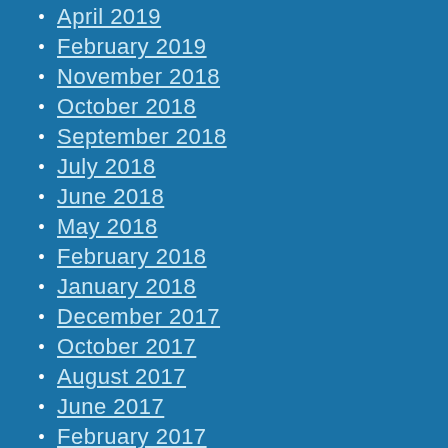April 2019
February 2019
November 2018
October 2018
September 2018
July 2018
June 2018
May 2018
February 2018
January 2018
December 2017
October 2017
August 2017
June 2017
February 2017
July 2016
June 2016